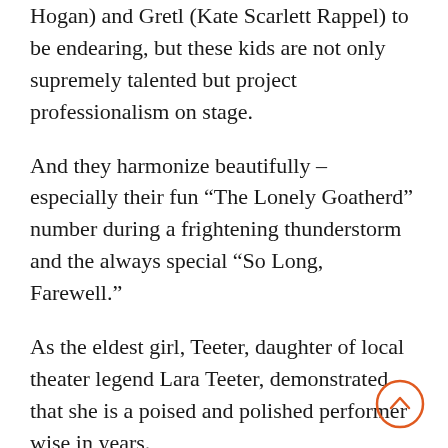Hogan) and Gretl (Kate Scarlett Rappel) to be endearing, but these kids are not only supremely talented but project professionalism on stage.
And they harmonize beautifully – especially their fun “The Lonely Goatherd” number during a frightening thunderstorm and the always special “So Long, Farewell.”
As the eldest girl, Teeter, daughter of local theater legend Lara Teeter, demonstrated that she is a poised and polished performer wise in years.
She has appeared on Broadway with Helen Mirren in “The Audience” and as Jane Banks in “Mary Poppins,” not to mention cute-friendly